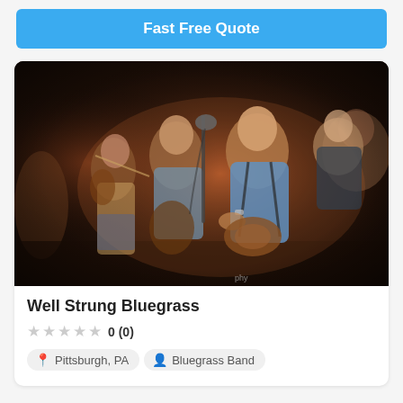Fast Free Quote
[Figure (photo): A bluegrass band performing on stage. Multiple musicians are visible playing instruments including fiddle and mandolin/guitar. The scene is dimly lit with dark background. A microphone is visible in the center.]
Well Strung Bluegrass
0 (0)
Pittsburgh, PA
Bluegrass Band